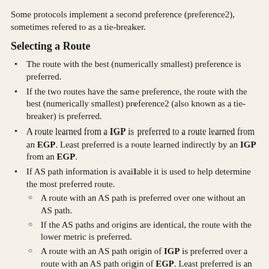Some protocols implement a second preference (preference2), sometimes refered to as a tie-breaker.
Selecting a Route
The route with the best (numerically smallest) preference is preferred.
If the two routes have the same preference, the route with the best (numerically smallest) preference2 (also known as a tie-breaker) is preferred.
A route learned from a IGP is preferred to a route learned from an EGP. Least preferred is a route learned indirectly by an IGP from an EGP.
If AS path information is available it is used to help determine the most preferred route.
A route with an AS path is preferred over one without an AS path.
If the AS paths and origins are identical, the route with the lower metric is preferred.
A route with an AS path origin of IGP is preferred over a route with an AS path origin of EGP. Least preferred is an AS path with an unknown origin.
A route with a shorter AS path is preferred.
If both routes are from the same protocol and AS, the one